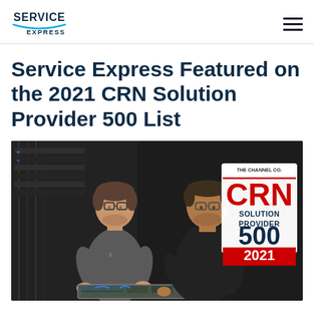SERVICE EXPRESS [logo]
Service Express Featured on the 2021 CRN Solution Provider 500 List
[Figure (photo): Two men in a data center looking at a server component they are holding. In the top right corner is a badge reading: THE CHANNEL CO. CRN SOLUTION PROVIDER 500 2021]